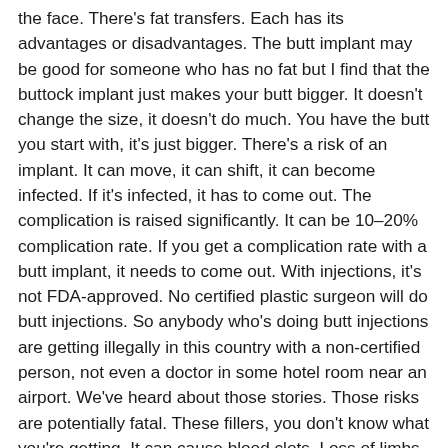the face. There's fat transfers. Each has its advantages or disadvantages. The butt implant may be good for someone who has no fat but I find that the buttock implant just makes your butt bigger. It doesn't change the size, it doesn't do much. You have the butt you start with, it's just bigger. There's a risk of an implant. It can move, it can shift, it can become infected. If it's infected, it has to come out. The complication is raised significantly. It can be 10–20% complication rate. If you get a complication rate with a butt implant, it needs to come out. With injections, it's not FDA-approved. No certified plastic surgeon will do butt injections. So anybody who's doing butt injections are getting illegally in this country with a non-certified person, not even a doctor in some hotel room near an airport. We've heard about those stories. Those risks are potentially fatal. These fillers, you don't know what you're getting. It can cause blood clots. Loss of limbs, lost of life. The third alternative is fat transfer. The reason I do fat is because you get two procedures in one. Liposuction. It's around the butt, the flank, the thighs.